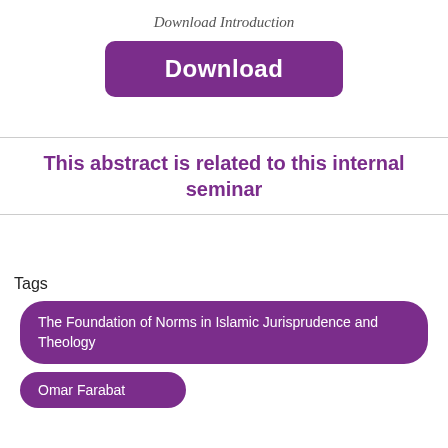Download Introduction
[Figure (other): Purple rounded rectangle Download button]
This abstract is related to this internal seminar
Tags
The Foundation of Norms in Islamic Jurisprudence and Theology
Omar Farabat